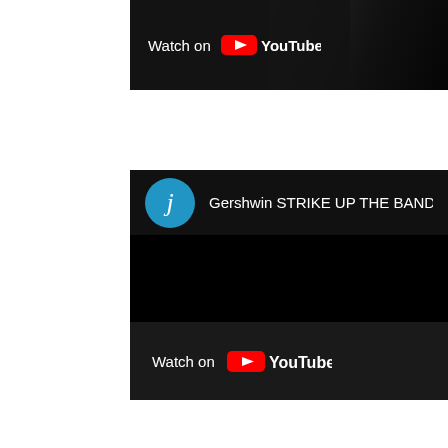[Figure (screenshot): Top YouTube video embed showing 'Watch on YouTube' bar with dark video thumbnail on right side]
[Figure (screenshot): YouTube video embed for 'Gershwin STRIKE UP THE BAND Rehears...' with blue avatar circle showing letter j, black video body, and 'Watch on YouTube' bar at bottom]